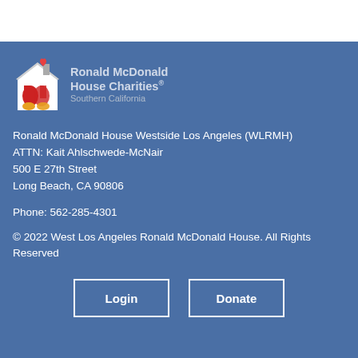[Figure (logo): Ronald McDonald House Charities Southern California logo with house icon and red heart]
Ronald McDonald House Westside Los Angeles (WLRMH)
ATTN: Kait Ahlschwede-McNair
500 E 27th Street
Long Beach, CA 90806
Phone: 562-285-4301
© 2022 West Los Angeles Ronald McDonald House. All Rights Reserved
Login
Donate